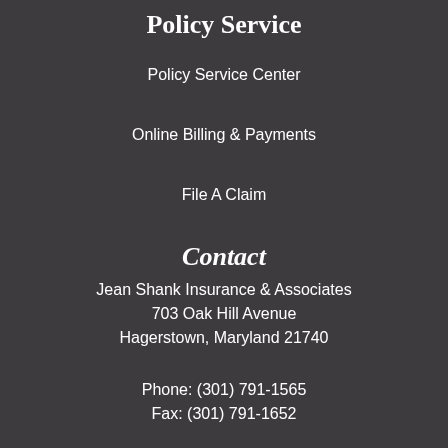Policy Service
Policy Service Center
Online Billing & Payments
File A Claim
Contact
Jean Shank Insurance & Associates
703 Oak Hill Avenue
Hagerstown, Maryland 21740
Phone: (301) 791-1565
Fax: (301) 791-1652